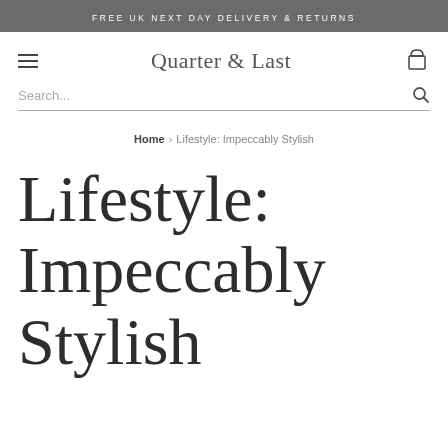FREE UK NEXT DAY DELIVERY & RETURNS
Quarter & Last
Search...
Home › Lifestyle: Impeccably Stylish
Lifestyle: Impeccably Stylish